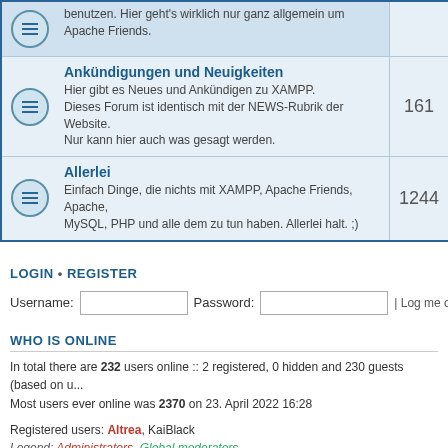| Icon | Forum | Count |
| --- | --- | --- |
| (icon) | benutzen. Hier geht's wirklich nur ganz allgemein um Apache Friends. |  |
| (icon) | Ankündigungen und Neuigkeiten
Hier gibt es Neues und Ankündigen zu XAMPP. Dieses Forum ist identisch mit der NEWS-Rubrik der Website. Nur kann hier auch was gesagt werden. | 161 |
| (icon) | Allerlei
Einfach Dinge, die nichts mit XAMPP, Apache Friends, Apache, MySQL, PHP und alle dem zu tun haben. Allerlei halt. ;) | 1244 |
LOGIN • REGISTER
Username: [input] Password: [input] | Log me on autom...
WHO IS ONLINE
In total there are 232 users online :: 2 registered, 0 hidden and 230 guests (based on u...
Most users ever online was 2370 on 23. April 2022 16:28
Registered users: Altrea, KaiBlack
Legend: Administrators, Global moderators
STATISTICS
Total posts 232135 • Total topics 56595 • Total members 106622 • Our newest member k...
Board index   The team • Delete all...   Powered by Bitnami phpBB   Privacy Policy